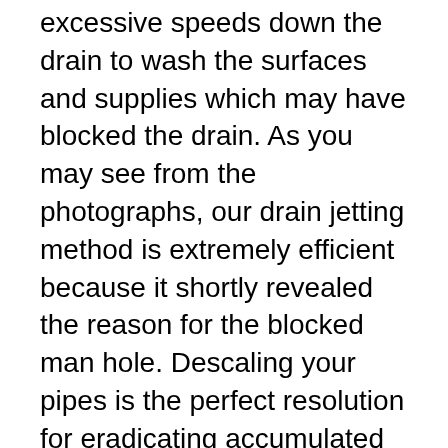excessive speeds down the drain to wash the surfaces and supplies which may have blocked the drain. As you may see from the photographs, our drain jetting method is extremely efficient because it shortly revealed the reason for the blocked man hole. Descaling your pipes is the perfect resolution for eradicating accumulated minerals and rust that over time, can cause injury to the pipe system.
At Lanes for Drains, we provide highly efficient drain jet vacuumation services to minimise the harm of a flooding incident, and to help prevent flooding earlier than it occurs. We're the UK's greatest privately-owned specialist drainage and wastewater contractor, and with denote...